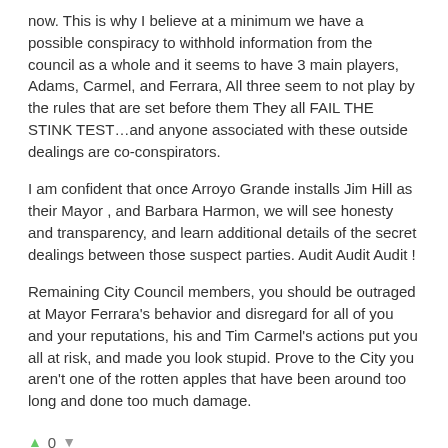now. This is why I believe at a minimum we have a possible conspiracy to withhold information from the council as a whole and it seems to have 3 main players, Adams, Carmel, and Ferrara, All three seem to not play by the rules that are set before them They all FAIL THE STINK TEST…and anyone associated with these outside dealings are co-conspirators.
I am confident that once Arroyo Grande installs Jim Hill as their Mayor , and Barbara Harmon, we will see honesty and transparency, and learn additional details of the secret dealings between those suspect parties. Audit Audit Audit !
Remaining City Council members, you should be outraged at Mayor Ferrara's behavior and disregard for all of you and your reputations, his and Tim Carmel's actions put you all at risk, and made you look stupid. Prove to the City you aren't one of the rotten apples that have been around too long and done too much damage.
▲ 0 ▼
11/20/2014 12:52 pm
analyticone